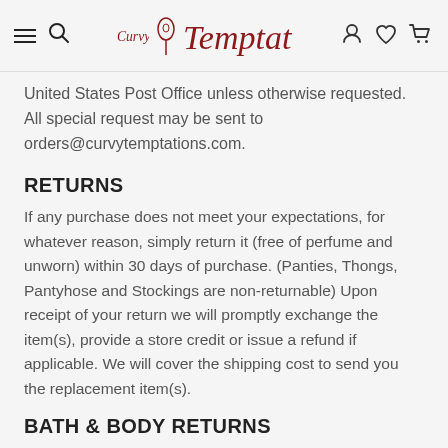Curvy Temptations — navigation header
United States Post Office unless otherwise requested. All special request may be sent to orders@curvytemptations.com.
RETURNS
If any purchase does not meet your expectations, for whatever reason, simply return it (free of perfume and unworn) within 30 days of purchase. (Panties, Thongs, Pantyhose and Stockings are non-returnable) Upon receipt of your return we will promptly exchange the item(s), provide a store credit or issue a refund if applicable. We will cover the shipping cost to send you the replacement item(s).
BATH & BODY RETURNS
We understand that all people (and noses) are different and